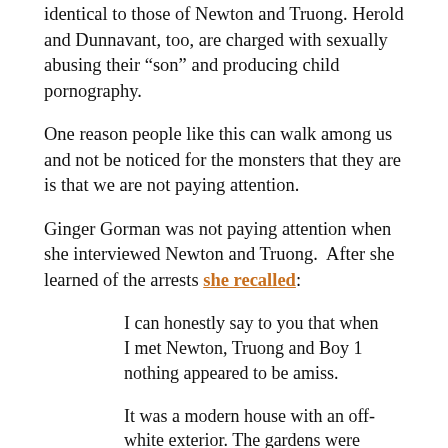identical to those of Newton and Truong. Herold and Dunnavant, too, are charged with sexually abusing their “son” and producing child pornography.
One reason people like this can walk among us and not be noticed for the monsters that they are is that we are not paying attention.
Ginger Gorman was not paying attention when she interviewed Newton and Truong. After she learned of the arrests she recalled:
I can honestly say to you that when I met Newton, Truong and Boy 1 nothing appeared to be amiss.
It was a modern house with an off-white exterior. The gardens were manicured and a shiny child’s bike lay on its side in the front